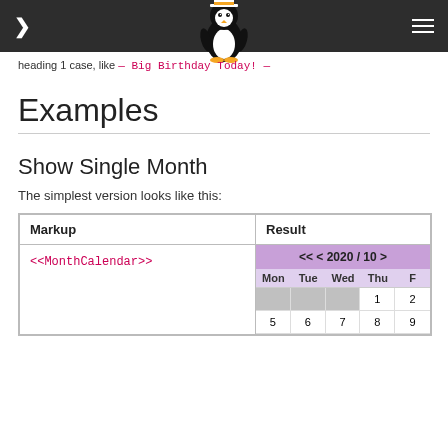navigation bar with arrow, penguin logo, hamburger menu
heading 1 case, like — Big Birthday Today! —
Examples
Show Single Month
The simplest version looks like this:
| Markup | Result |
| --- | --- |
| <<MonthCalendar>> | [Calendar widget showing 2020/10 with Mon Tue Wed Thu... grid, dates 1,2,5,6,7,8,9...] |